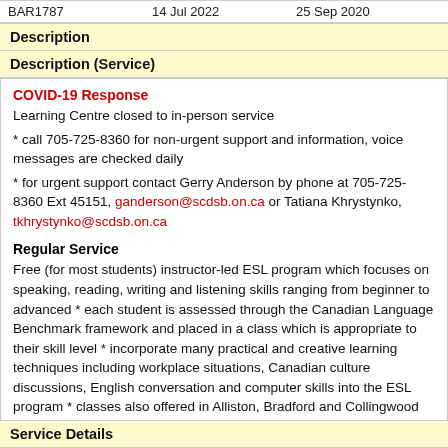|  |  |  |
| --- | --- | --- |
| BAR1787 | 14 Jul 2022 | 25 Sep 2020 |
Description
Description (Service)
COVID-19 Response
Learning Centre closed to in-person service
* call 705-725-8360 for non-urgent support and information, voice messages are checked daily
* for urgent support contact Gerry Anderson by phone at 705-725-8360 Ext 45151, ganderson@scdsb.on.ca or Tatiana Khrystynko, tkhrystynko@scdsb.on.ca

Regular Service
Free (for most students) instructor-led ESL program which focuses on speaking, reading, writing and listening skills ranging from beginner to advanced * each student is assessed through the Canadian Language Benchmark framework and placed in a class which is appropriate to their skill level * incorporate many practical and creative learning techniques including workplace situations, Canadian culture discussions, English conversation and computer skills into the ESL program * classes also offered in Alliston, Bradford and Collingwood
Service Details